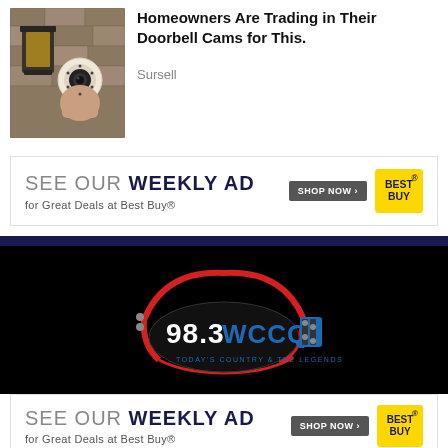[Figure (photo): Security camera mounted on a stone wall next to a lantern-style light fixture]
Homeowners Are Trading in Their Doorbell Cams for This.
Sursell
[Figure (infographic): Best Buy advertisement: SEE OUR WEEKLY AD for Great Deals at Best Buy® with SHOP NOW button and Best Buy logo]
[Figure (logo): 98.3 WCCQ radio station logo - Today's Country & The Legends, guitar-shaped logo on black background]
[Figure (infographic): Best Buy advertisement: SEE OUR WEEKLY AD for Great Deals at Best Buy® with SHOP NOW button and Best Buy logo (second instance)]